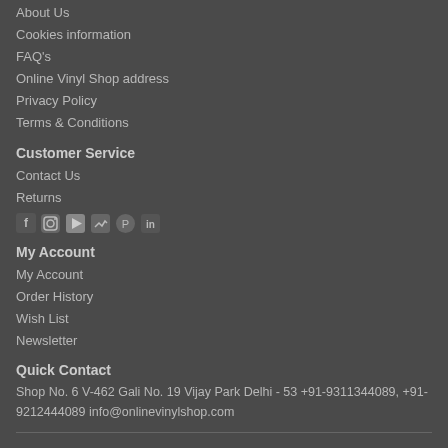About Us
Cookies information
FAQ's
Online Vinyl Shop address
Privacy Policy
Terms & Conditions
Customer Service
Contact Us
Returns
[Figure (other): Social media icons: Facebook, Instagram, YouTube, Twitter, Pinterest, LinkedIn]
My Account
My Account
Order History
Wish List
Newsletter
Quick Contact
Shop No. 6 V-462 Gali No. 19 Vijay Park Delhi - 53 +91-9311344089, +91-9212444089 info@onlinevinylshop.com